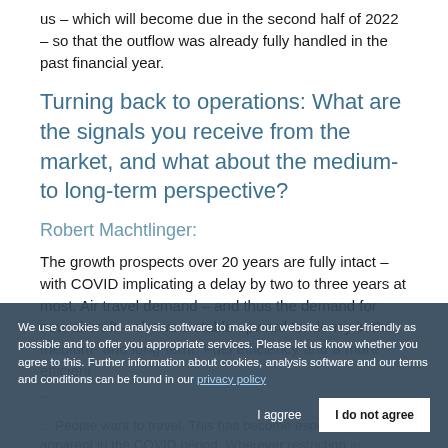us – which will become due in the second half of 2022 – so that the outflow was already fully handled in the past financial year.
Turning back to operations: What are the signals you receive from the market, and what about the medium- to long-term perspective?
Robert Machtlinger:
The growth prospects over 20 years are fully intact – with COVID implicating a delay by two to three years at most. Air travel demand – and thus the demand for new aircraft – shows a stable upward tendency in the medium- and long-term. Fuel efficiency and a more efficient...
We use cookies and analysis software to make our website as user-friendly as possible and to offer you appropriate services. Please let us know whether you agree to this. Further information about cookies, analysis software and our terms and conditions can be found in our privacy policy